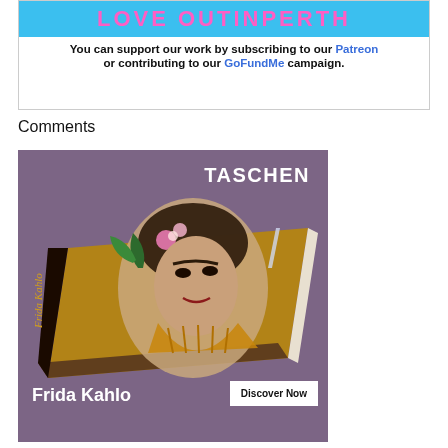[Figure (infographic): Love OUTinPerth banner with cyan background and pink text 'LOVE OUTINPERTH', followed by text: 'You can support our work by subscribing to our Patreon or contributing to our GoFundMe campaign.']
Comments
[Figure (photo): TASCHEN advertisement showing the Frida Kahlo art book on a purple background. The book spine reads 'Frida Kahlo'. Top right shows 'TASCHEN' in white. Bottom left shows 'Frida Kahlo' in large white bold text. Bottom right shows a 'Discover Now' button in a white rectangle.]